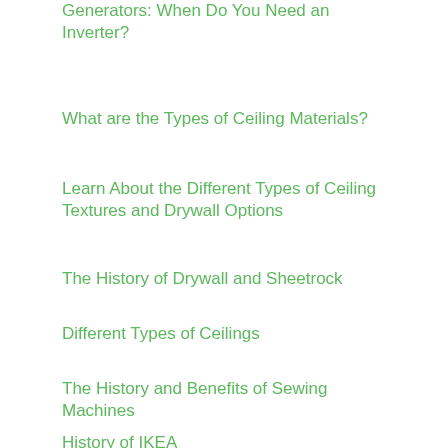Generators: When Do You Need an Inverter?
What are the Types of Ceiling Materials?
Learn About the Different Types of Ceiling Textures and Drywall Options
The History of Drywall and Sheetrock
Different Types of Ceilings
The History and Benefits of Sewing Machines
History of IKEA